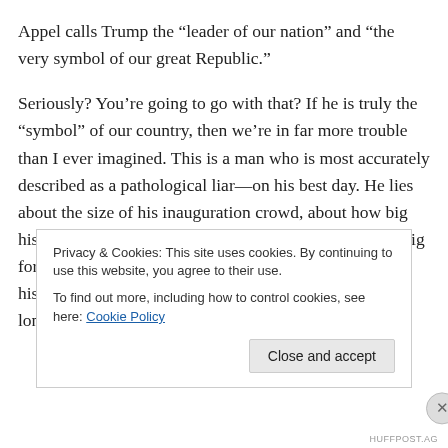Appel calls Trump the “leader of our nation” and “the very symbol of our great Republic.”
Seriously? You’re going to go with that? If he is truly the “symbol” of our country, then we’re in far more trouble than I ever imagined. This is a man who is most accurately described as a pathological liar—on his best day. He lies about the size of his inauguration crowd, about how big his tax cut was (REAL TAX PICTURE: it was pretty big for the wealthy, but nowhere near the biggest tax cut in history, as he boasted), about how North Korea was no longer a
Privacy & Cookies: This site uses cookies. By continuing to use this website, you agree to their use.
To find out more, including how to control cookies, see here: Cookie Policy
HUFFPOST.AG